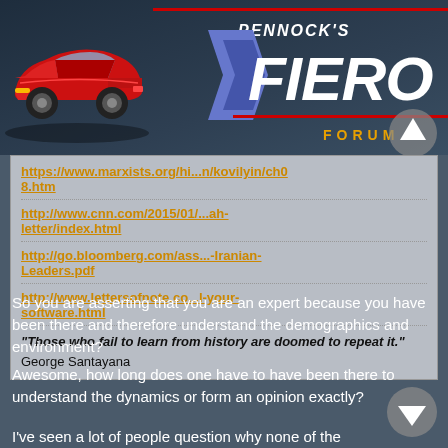[Figure (logo): Pennock's Fiero Forum logo with red Pontiac Fiero car on left and stylized FIERO text with chevron shape on right]
https://www.marxists.org/hi...n/kovilyin/ch08.htm
http://www.cnn.com/2015/01/...ah-letter/index.html
http://go.bloomberg.com/ass...-Iranian-Leaders.pdf
http://www.lettersofnote.co...l-your-software.html
"Those who fail to learn from history are doomed to repeat it." George Santayana
So you are asserting that you are an expert because you have been there and therefore understand the demographics and environment?
Awesome, how long does one have to have been there to understand the dynamics or form an opinion exactly?
I've seen a lot of people question why none of the "good ones" stand up and criticize their fellow Muslims for the